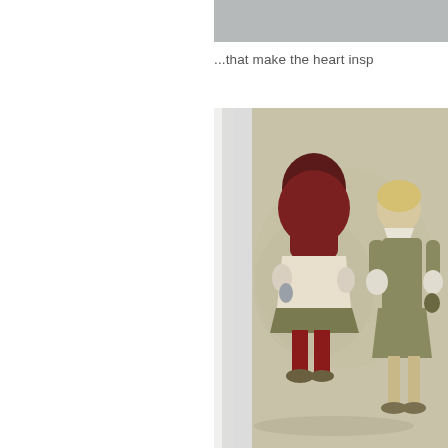[Figure (photo): Gray/silver colored rectangular band at the top right portion of the page, representing a cropped portion of a photo or artwork background.]
...that make the heart insp
[Figure (photo): A painting or artwork leaning against a white wall, showing two childlike female figures painted in muted olive, cream, and dark red/maroon tones. One figure faces away with dark red hair and red stockings; the other faces forward with blonde hair and a green dress. Both hold objects in their hands. The painting has a beige-grey background.]